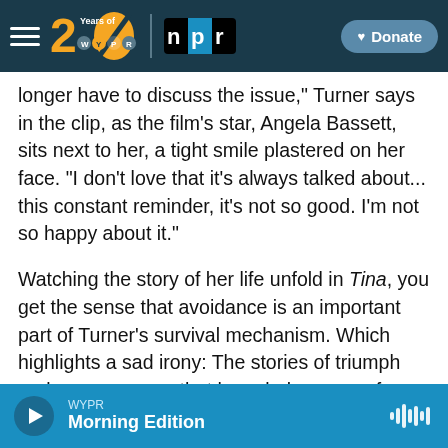[Figure (screenshot): WYPR 20 Years of WYPR logo with NPR logo and Donate button on dark teal navigation bar]
longer have to discuss the issue," Turner says in the clip, as the film's star, Angela Bassett, sits next to her, a tight smile plastered on her face. "I don't love that it's always talked about... this constant reminder, it's not so good. I'm not so happy about it."
Watching the story of her life unfold in Tina, you get the sense that avoidance is an important part of Turner's survival mechanism. Which highlights a sad irony: The stories of triumph and perseverance that have led so many fans to adore her – and has fueled so many books, films and added weight to
WYPR Morning Edition